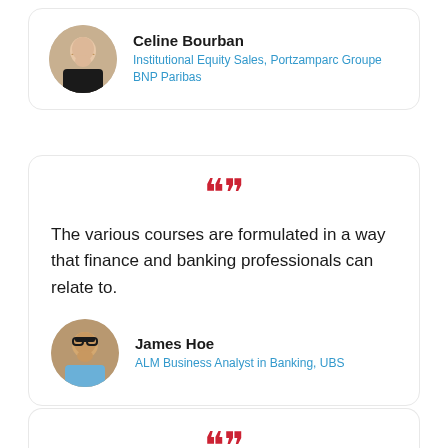[Figure (photo): Profile card for Celine Bourban with circular photo of a blonde woman in dark jacket]
Celine Bourban
Institutional Equity Sales, Portzamparc Groupe BNP Paribas
[Figure (photo): Quote card with red quotation marks and testimonial text]
The various courses are formulated in a way that finance and banking professionals can relate to.
James Hoe
ALM Business Analyst in Banking, UBS
[Figure (photo): Partial quote card at bottom with red quotation marks visible]